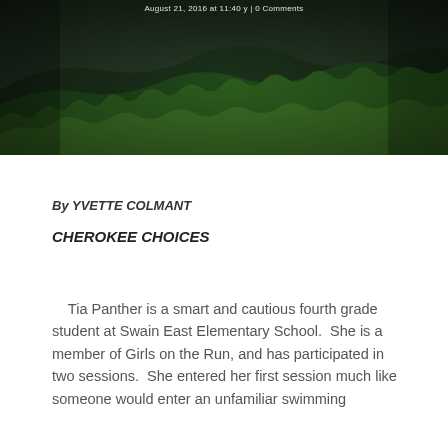August 21, 2016 at 11:40 y | 0 Comments
[Figure (photo): Aerial view of dense dark green forested mountain ridges receding into the background, with lighter green treetops in the foreground.]
By YVETTE COLMANT
CHEROKEE CHOICES
Tia Panther is a smart and cautious fourth grade student at Swain East Elementary School.  She is a member of Girls on the Run, and has participated in two sessions.  She entered her first session much like someone would enter an unfamiliar swimming